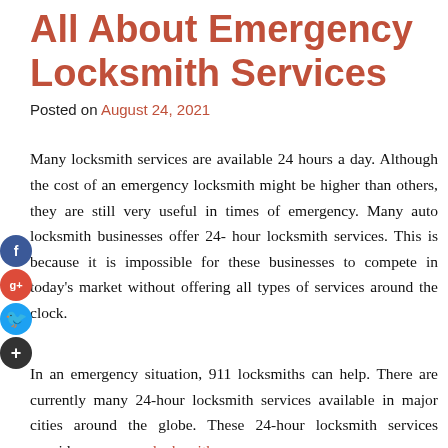All About Emergency Locksmith Services
Posted on August 24, 2021
Many locksmith services are available 24 hours a day. Although the cost of an emergency locksmith might be higher than others, they are still very useful in times of emergency. Many auto locksmith businesses offer 24-hour locksmith services. This is because it is impossible for these businesses to compete in today's market without offering all types of services around the clock.
In an emergency situation, 911 locksmiths can help. There are currently many 24-hour locksmith services available in major cities around the globe. These 24-hour locksmith services provide emergency locksmith.